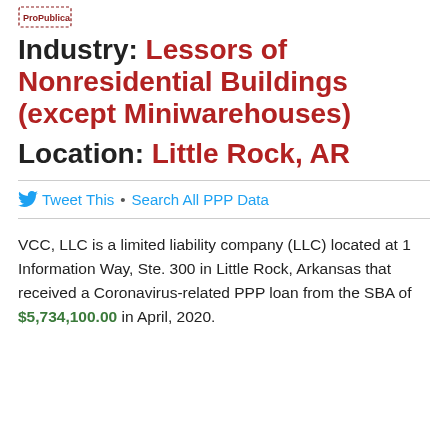[Figure (logo): ProPublica logo (small red/brown logo image)]
Industry: Lessors of Nonresidential Buildings (except Miniwarehouses)
Location: Little Rock, AR
Tweet This • Search All PPP Data
VCC, LLC is a limited liability company (LLC) located at 1 Information Way, Ste. 300 in Little Rock, Arkansas that received a Coronavirus-related PPP loan from the SBA of $5,734,100.00 in April, 2020.